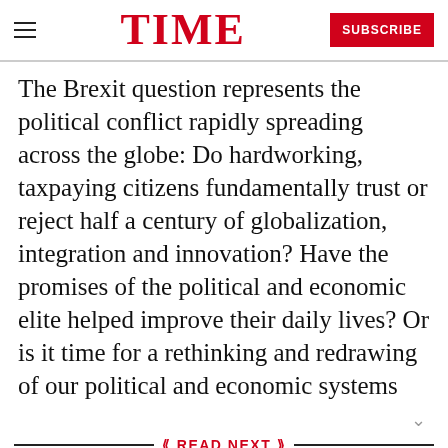TIME
The Brexit question represents the political conflict rapidly spreading across the globe: Do hardworking, taxpaying citizens fundamentally trust or reject half a century of globalization, integration and innovation? Have the promises of the political and economic elite helped improve their daily lives? Or is it time for a rethinking and redrawing of our political and economic systems
READ NEXT
Gordie Howe Was My Idol